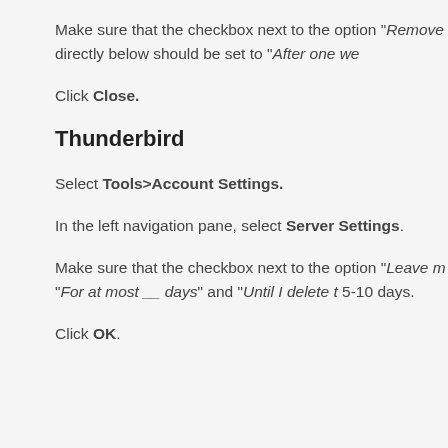Make sure that the checkbox next to the option "Remove... next option directly below should be set to "After one we...
Click Close.
Thunderbird
Select Tools>Account Settings.
In the left navigation pane, select Server Settings.
Make sure that the checkbox next to the option "Leave m... directly below, "For at most __ days" and "Until I delete t... 5-10 days.
Click OK.